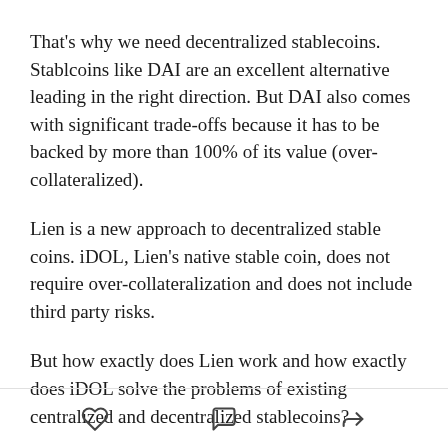That's why we need decentralized stablecoins. Stablcoins like DAI are an excellent alternative leading in the right direction. But DAI also comes with significant trade-offs because it has to be backed by more than 100% of its value (over-collateralized).
Lien is a new approach to decentralized stable coins. iDOL, Lien's native stable coin, does not require over-collateralization and does not include third party risks.
But how exactly does Lien work and how exactly does iDOL solve the problems of existing centralized and decentralized stablecoins?
Let's dive a little deeper!
[heart icon] [comment icon] [share icon]